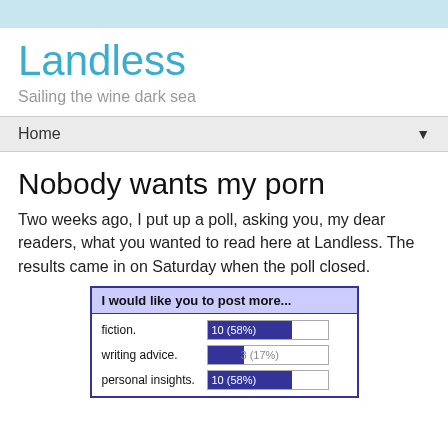Landless
Sailing the wine dark sea
Home
Nobody wants my porn
Two weeks ago, I put up a poll, asking you, my dear readers, what you wanted to read here at Landless. The results came in on Saturday when the poll closed.
[Figure (bar-chart): I would like you to post more...]